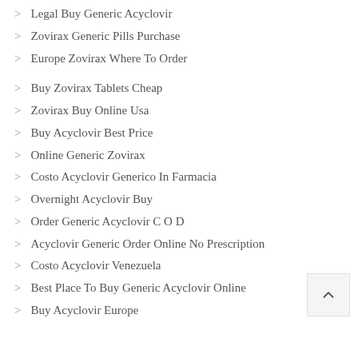Legal Buy Generic Acyclovir
Zovirax Generic Pills Purchase
Europe Zovirax Where To Order
Buy Zovirax Tablets Cheap
Zovirax Buy Online Usa
Buy Acyclovir Best Price
Online Generic Zovirax
Costo Acyclovir Generico In Farmacia
Overnight Acyclovir Buy
Order Generic Acyclovir C O D
Acyclovir Generic Order Online No Prescription
Costo Acyclovir Venezuela
Best Place To Buy Generic Acyclovir Online
Buy Acyclovir Europe